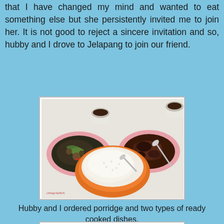that I have changed my mind and wanted to eat something else but she persistently invited me to join her. It is not good to reject a sincere invitation and so, hubby and I drove to Jelapang to join our friend.
[Figure (photo): Photo of a meal with an orange bowl of porridge/rice in the center, two pink plates with cooked dishes on either side, and small cups in the background. Watermark 'chingchaileh' visible at bottom left.]
Hubby and I ordered porridge and two types of ready cooked dishes.
[Figure (photo): Close-up photo of a cooked dish on a pink plate — appears to be stir-fried vegetables and meat with green beans, eggplant, and chili.]